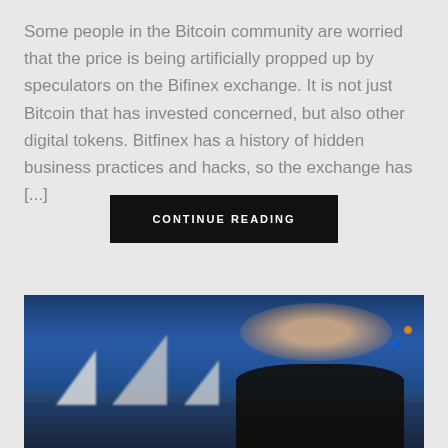Some people in the Bitcoin community are worried that the price is being artificially propped up by speculators on the Bifinex exchange. It is not just Bitcoin that has invested concerned, but also other digital tokens. Bitfinex has a history of hidden business practices and hacks, so the exchange has [...]
CONTINUE READING
[Figure (photo): Photo of a smiling woman holding a drink with the Sydney Opera House illuminated in the background at night]